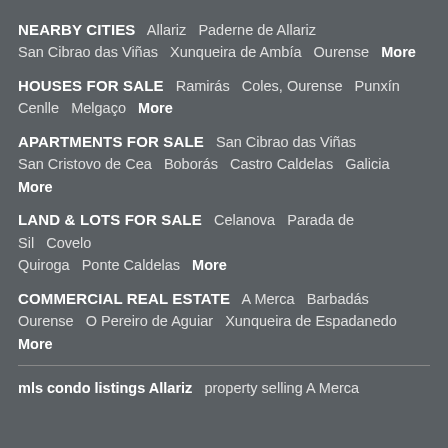NEARBY CITIES
Allariz   Paderne de Allariz   San Cibrao das Viñas   Xunqueira de Ambía   Ourense   More
HOUSES FOR SALE
Ramirás   Coles, Ourense   Punxín   Cenlle   Melgaço   More
APARTMENTS FOR SALE
San Cibrao das Viñas   San Cristovo de Cea   Boborás   Castro Caldelas   Galicia   More
LAND & LOTS FOR SALE
Celanova   Parada de Sil   Covelo   Quiroga   Ponte Caldelas   More
COMMERCIAL REAL ESTATE
A Merca   Barbadás   Ourense   O Pereiro de Aguiar   Xunqueira de Espadanedo   More
mls condo listings Allariz   property selling A Merca